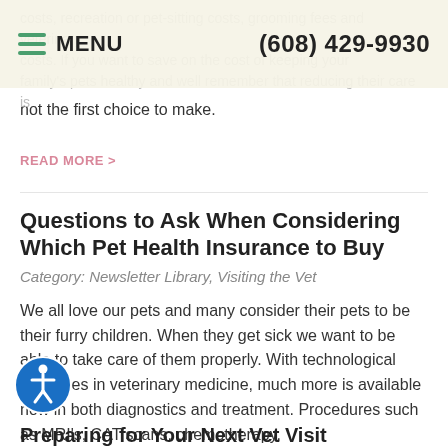MENU  (608) 429-9930
costs, recreation or pet-sitting costs, grooming fees and veterinary costs. If you want to save on the cost of keeping your family's pets healthy and well remember that reducing their care is not the first choice to make.
READ MORE >
Questions to Ask When Considering Which Pet Health Insurance to Buy
Category: Newsletter Library, Visiting the Vet
We all love our pets and many consider their pets to be their furry children. When they get sick we want to be able to take care of them properly. With technological advances in veterinary medicine, much more is available now in both diagnostics and treatment. Procedures such as MRI's, CAT scans, chemotherapy,
READ MORE >
Preparing for Your Next Vet Visit